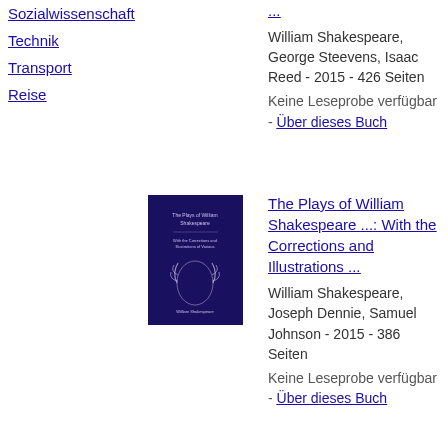Sozialwissenschaft
Technik
Transport
Reise
...
William Shakespeare, George Steevens, Isaac Reed - 2015 - 426 Seiten
Keine Leseprobe verfügbar - Über dieses Buch
[Figure (photo): Book cover of The Plays of William Shakespeare: dark navy cover with laurel wreath emblem and text]
The Plays of William Shakespeare ...: With the Corrections and Illustrations ...
William Shakespeare, Joseph Dennie, Samuel Johnson - 2015 - 386 Seiten
Keine Leseprobe verfügbar - Über dieses Buch